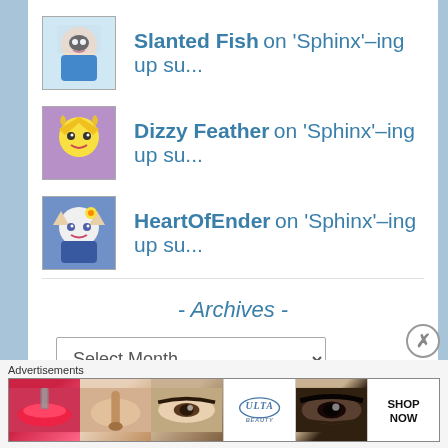Slanted Fish on 'Sphinx'-ing up su...
Dizzy Feather on 'Sphinx'-ing up su...
HeartOfEnder on 'Sphinx'-ing up su...
- Archives -
[Figure (screenshot): Select Month dropdown widget]
- Categories -
[Figure (screenshot): Select Category dropdown widget]
[Figure (other): Advertisements bar with makeup/beauty images and ULTA logo with SHOP NOW text]